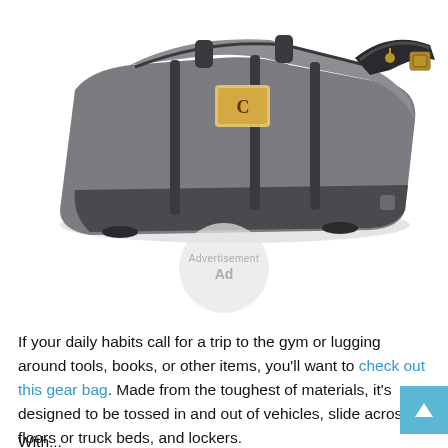[Figure (photo): A gray Carhartt duffel/gear bag with dark trim, shoulder strap with gold hardware, shown against a white background.]
Advertisement
Ad
If your daily habits call for a trip to the gym or lugging around tools, books, or other items, you'll want to check out this gear bag. Made from the toughest of materials, it's designed to be tossed in and out of vehicles, slide across floors or truck beds, and lockers.
With...